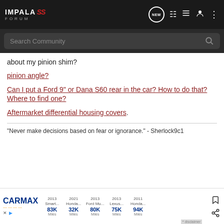IMPALA SS FORUM
about my pinion shim?
pinion angle?
Can I put a Ford 9" or Dana S60 rear in the car? How to do that? Where to find one?
Aftermarket differential housing covers.
"Never make decisions based on fear or ignorance." - Sherlock9c1
[Figure (screenshot): CarMax advertisement banner showing used cars: 2013 Smart... 83K Miles, 2021 Honda... 32K Miles, 2013 Ford Mu... 80K Miles, 2013 Lexus... 75K Miles, 2011 Honda... 94K Miles]